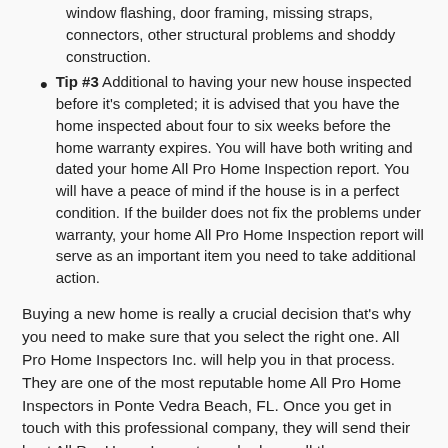window flashing, door framing, missing straps, connectors, other structural problems and shoddy construction.
Tip #3 Additional to having your new house inspected before it's completed; it is advised that you have the home inspected about four to six weeks before the home warranty expires. You will have both writing and dated your home All Pro Home Inspection report. You will have a peace of mind if the house is in a perfect condition. If the builder does not fix the problems under warranty, your home All Pro Home Inspection report will serve as an important item you need to take additional action.
Buying a new home is really a crucial decision that's why you need to make sure that you select the right one. All Pro Home Inspectors Inc. will help you in that process. They are one of the most reputable home All Pro Home Inspectors in Ponte Vedra Beach, FL. Once you get in touch with this professional company, they will send their best All Pro Home Inspectors who have all the qualification, certification and experience needed to detect problems in your new home.